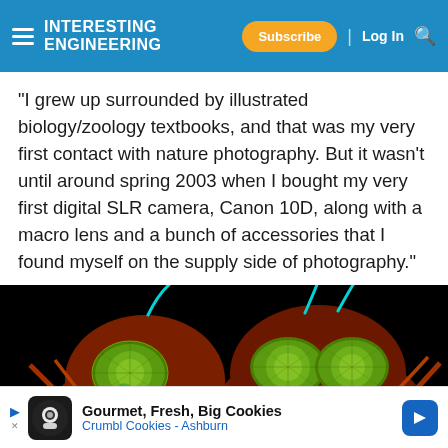INTERESTING ENGINEERING — Subscribe | Log In [search]
"I grew up surrounded by illustrated biology/zoology textbooks, and that was my very first contact with nature photography. But it wasn't until around spring 2003 when I bought my very first digital SLR camera, Canon 10D, along with a macro lens and a bunch of accessories that I found myself on the supply side of photography."
[Figure (photo): Close-up macro photograph of two insect heads (likely weevils or beetles) side by side on a black background, showing vibrant colorized compound eyes (green-yellow) and detailed exoskeleton structures in red, orange, green, and teal tones.]
Gourmet, Fresh, Big Cookies Crumbl Cookies - Ashburn